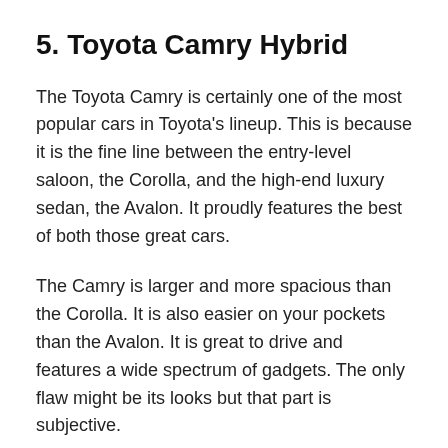5. Toyota Camry Hybrid
The Toyota Camry is certainly one of the most popular cars in Toyota's lineup. This is because it is the fine line between the entry-level saloon, the Corolla, and the high-end luxury sedan, the Avalon. It proudly features the best of both those great cars.
The Camry is larger and more spacious than the Corolla. It is also easier on your pockets than the Avalon. It is great to drive and features a wide spectrum of gadgets. The only flaw might be its looks but that part is subjective.
You can also get the Camry with a hybrid powertrain. This should pump up the standard car's